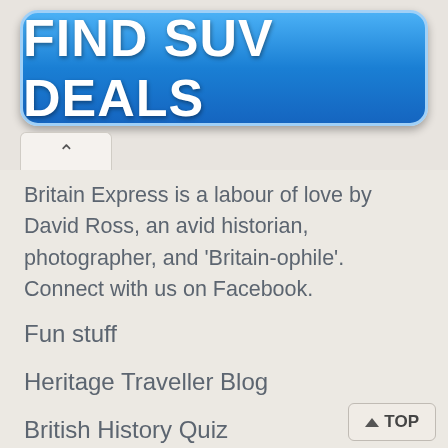[Figure (other): Blue gradient button with white bold text reading FIND SUV DEALS]
Britain Express is a labour of love by David Ross, an avid historian, photographer, and 'Britain-ophile'. Connect with us on Facebook.
Fun stuff
Heritage Traveller Blog
British History Quiz
Historic Attraction Quiz
Monarch Mayhem
This Day in British History
Useful stuff